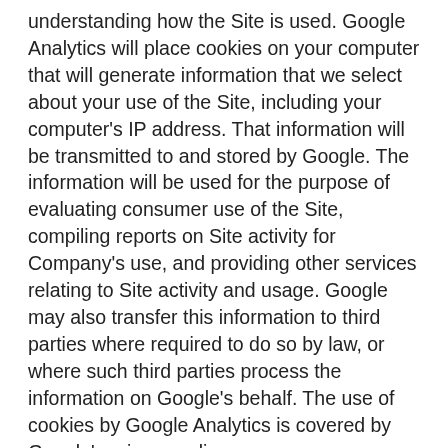understanding how the Site is used. Google Analytics will place cookies on your computer that will generate information that we select about your use of the Site, including your computer's IP address. That information will be transmitted to and stored by Google. The information will be used for the purpose of evaluating consumer use of the Site, compiling reports on Site activity for Company's use, and providing other services relating to Site activity and usage. Google may also transfer this information to third parties where required to do so by law, or where such third parties process the information on Google's behalf. The use of cookies by Google Analytics is covered by Google's privacy policy: https://www.google.com/policies/privacy/.
You can choose to delete existing cookies, allow or block cookies, and set preferences for certain websites in your browser's settings. Please note you may not be able to use the full functionality of the Site if you choose to block all cookies.
EMAIL AND TEXT MANAGEMENT. You may receive emails and texts from Company for a variety of reasons. We respect your desire to manage email and text correspondence. If you have an account with Company on the Site, you can select your preferences through your account settings. You can also manage your receipt of certain types of communication by following the